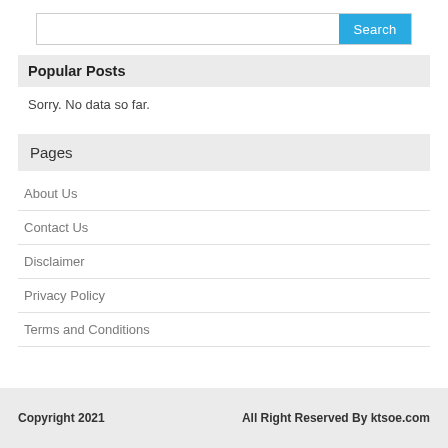[Figure (screenshot): Search bar with white input field and blue Search button]
Popular Posts
Sorry. No data so far.
Pages
About Us
Contact Us
Disclaimer
Privacy Policy
Terms and Conditions
Copyright 2021   All Right Reserved By ktsoe.com